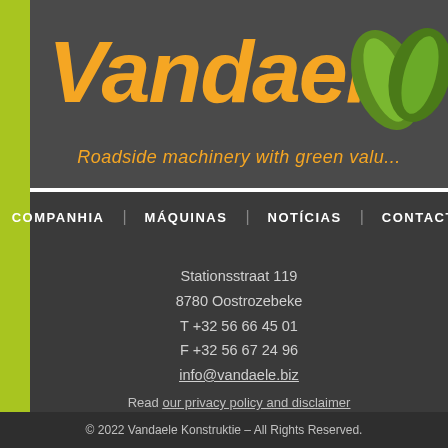[Figure (logo): Vandaele company logo with orange italic bold text 'VANDAELE' with registered trademark symbol, green leaf graphic, on dark gray background, with tagline 'Roadside machinery with green valu...']
COMPANHIA | MÁQUINAS | NOTÍCIAS | CONTACTO
Stationsstraat 119
8780 Oostrozebeke
T +32 56 66 45 01
F +32 56 67 24 96
info@vandaele.biz
Read our privacy policy and disclaimer
© 2022 Vandaele Konstruktie – All Rights Reserved.